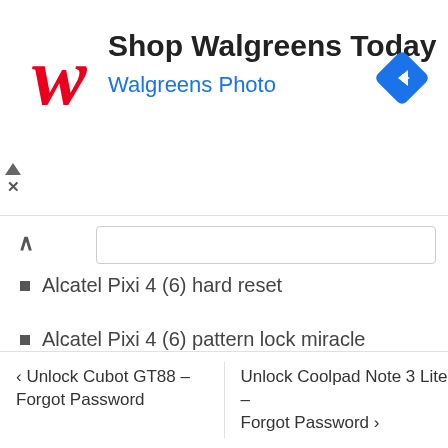[Figure (screenshot): Walgreens advertisement banner with Walgreens cursive logo, text 'Shop Walgreens Today' and 'Walgreens Photo' in blue, blue diamond navigation arrow icon on right, and ad controls (triangle and X) on left.]
Alcatel Pixi 4 (6) hard reset
Alcatel Pixi 4 (6) pattern lock miracle
‹ Unlock Cubot GT88 – Forgot Password
Unlock Coolpad Note 3 Lite – Forgot Password ›